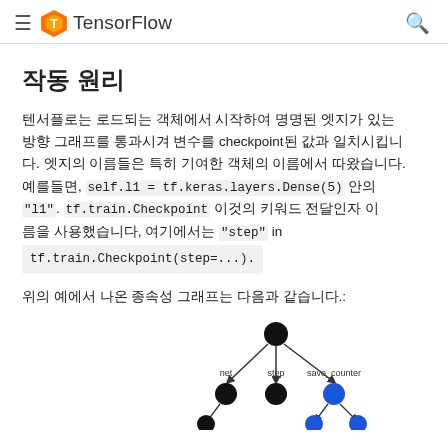TensorFlow
작동 원리
텐서플로는 로드되는 객체에서 시작하여 명명된 엣지가 있는 방향 그래프를 통과시겨 변수를 checkpoint된 값과 일치시킵니다. 엣지의 이름들은 특히 기여한 객체의 이름에서 따왔습니다. 예를들면, self.l1 = tf.keras.layers.Dense(5) 안의 "l1". tf.train.Checkpoint 이것의 키워드 전달인자 이름을 사용했습니다, 여기에서는 "step" in tf.train.Checkpoint(step=...).
위의 예에서 나온 종속성 그래프는 다음과 같습니다.:
[Figure (network-graph): Dependency graph showing a black root node at top, with edges going to three child nodes labeled 'net', 'step', and 'save_counter'. The net and step nodes are black, save_counter nodes are blue. Two more blue nodes appear at the bottom right.]